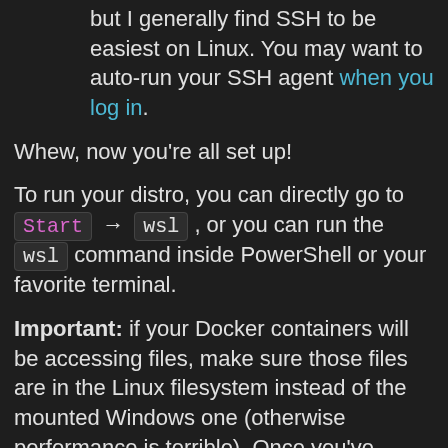but I generally find SSH to be easiest on Linux. You may want to auto-run your SSH agent when you log in.
Whew, now you're all set up!
To run your distro, you can directly go to Start → wsl , or you can run the wsl command inside PowerShell or your favorite terminal.
Important: if your Docker containers will be accessing files, make sure those files are in the Linux filesystem instead of the mounted Windows one (otherwise performance is terrible). Once you've